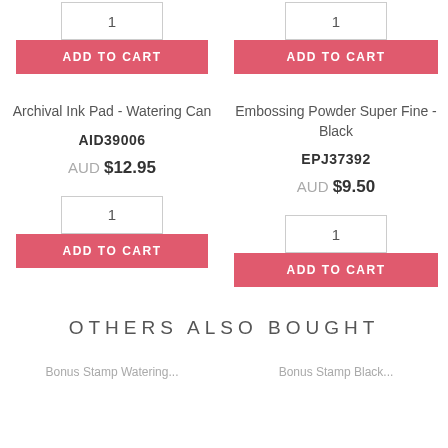1
ADD TO CART
1
ADD TO CART
Archival Ink Pad - Watering Can
Embossing Powder Super Fine - Black
AID39006
EPJ37392
AUD $12.95
AUD $9.50
1
ADD TO CART
1
ADD TO CART
OTHERS ALSO BOUGHT
Bonus Stamp Watering...
Bonus Stamp Black...